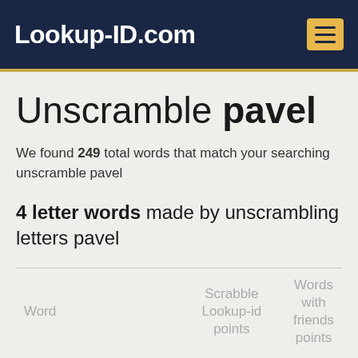Lookup-ID.com
Unscramble pavel
We found 249 total words that match your searching unscramble pavel
4 letter words made by unscrambling letters pavel
| Word | Scrabble Lookup-id points | Words with friends points |
| --- | --- | --- |